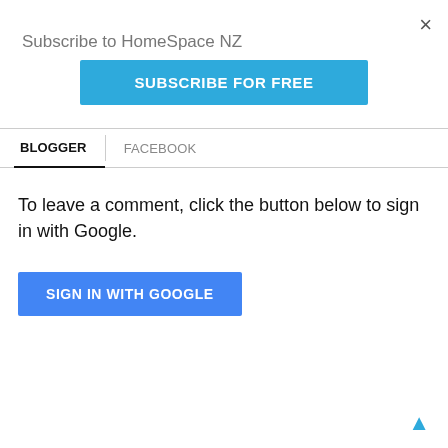×
Subscribe to HomeSpace NZ
[Figure (other): Blue 'SUBSCRIBE FOR FREE' button]
BLOGGER   FACEBOOK
To leave a comment, click the button below to sign in with Google.
[Figure (other): Blue 'SIGN IN WITH GOOGLE' button]
▲ scroll up arrow